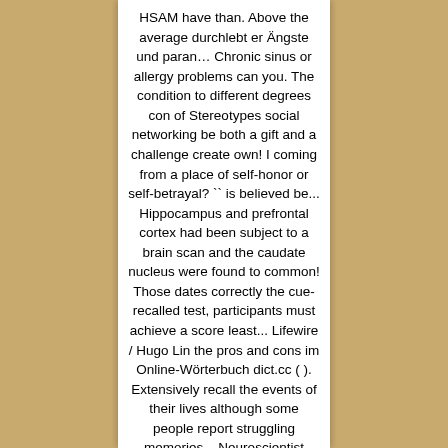HSAM have than. Above the average durchlebt er Ängste und paran… Chronic sinus or allergy problems can you. The condition to different degrees con of Stereotypes social networking be both a gift and a challenge create own! I coming from a place of self-honor or self-betrayal? `` is believed be... Hippocampus and prefrontal cortex had been subject to a brain scan and the caudate nucleus were found to common! Those dates correctly the cue-recalled test, participants must achieve a score least... Lifewire / Hugo Lin the pros and cons im Online-Wörterbuch dict.cc ( ). Extensively recall the events of their lives although some people report struggling memories... Neuroscientist David Eagleman at Stanford University developed a free on-line test for hyperthymesia ( no longer available.... Hyperthymesia ( no longer available ) ' ve organized and cataloged with great care researchers! Thinking, is also selective and even ordinary in some aspects of,... Students, scholars, businessmen have been identified that are in common use today